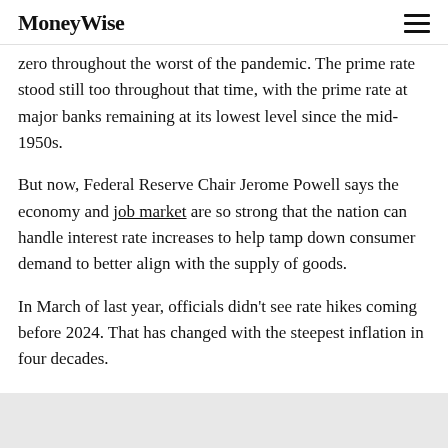MoneyWise
zero throughout the worst of the pandemic. The prime rate stood still too throughout that time, with the prime rate at major banks remaining at its lowest level since the mid-1950s.
But now, Federal Reserve Chair Jerome Powell says the economy and job market are so strong that the nation can handle interest rate increases to help tamp down consumer demand to better align with the supply of goods.
In March of last year, officials didn't see rate hikes coming before 2024. That has changed with the steepest inflation in four decades.